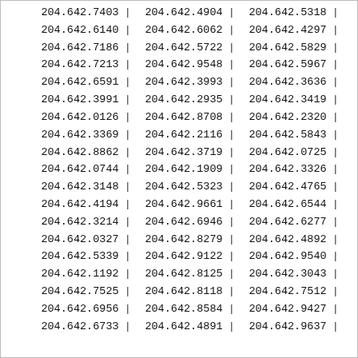| 204.642.7403 | | | 204.642.4904 | | | 204.642.5318 | | |
| 204.642.6140 | | | 204.642.6062 | | | 204.642.4297 | | |
| 204.642.7186 | | | 204.642.5722 | | | 204.642.5829 | | |
| 204.642.7213 | | | 204.642.9548 | | | 204.642.5967 | | |
| 204.642.6591 | | | 204.642.3993 | | | 204.642.3636 | | |
| 204.642.3991 | | | 204.642.2935 | | | 204.642.3419 | | |
| 204.642.0126 | | | 204.642.8708 | | | 204.642.2320 | | |
| 204.642.3369 | | | 204.642.2116 | | | 204.642.5843 | | |
| 204.642.8862 | | | 204.642.3719 | | | 204.642.0725 | | |
| 204.642.0744 | | | 204.642.1909 | | | 204.642.3326 | | |
| 204.642.3148 | | | 204.642.5323 | | | 204.642.4765 | | |
| 204.642.4194 | | | 204.642.9661 | | | 204.642.6544 | | |
| 204.642.3214 | | | 204.642.6946 | | | 204.642.6277 | | |
| 204.642.0327 | | | 204.642.8279 | | | 204.642.4892 | | |
| 204.642.5339 | | | 204.642.9122 | | | 204.642.9540 | | |
| 204.642.1192 | | | 204.642.8125 | | | 204.642.3043 | | |
| 204.642.7525 | | | 204.642.8118 | | | 204.642.7512 | | |
| 204.642.6956 | | | 204.642.8584 | | | 204.642.9427 | | |
| 204.642.6733 | | | 204.642.4891 | | | 204.642.9637 | | |